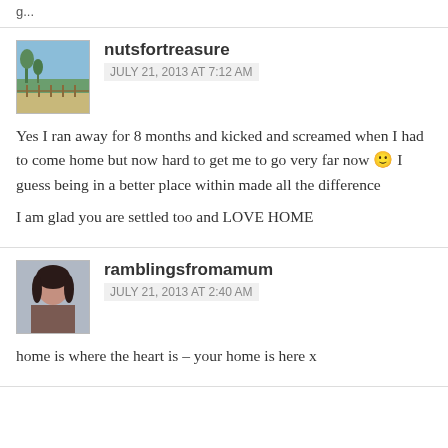nutsfortreasure
JULY 21, 2013 AT 7:12 AM
Yes I ran away for 8 months and kicked and screamed when I had to come home but now hard to get me to go very far now 🙂 I guess being in a better place within made all the difference
I am glad you are settled too and LOVE HOME
ramblingsfromamum
JULY 21, 2013 AT 2:40 AM
home is where the heart is – your home is here x